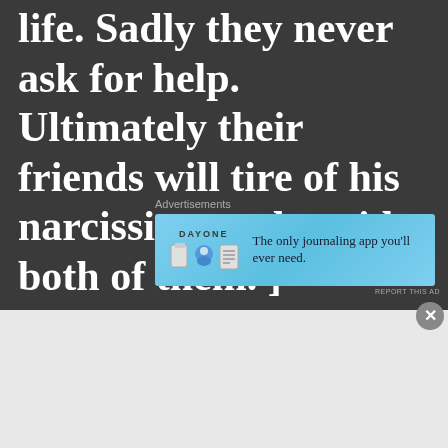life. Sadly they never ask for help. Ultimately their friends will tire of his narcissism and avoid both of them. ]
Advertisements
[Figure (other): Day One journaling app advertisement banner with blue background, app icons, and text 'The only journaling app you'll ever need.']
REPORT THIS AD
Advertisement(s)
[Figure (other): DuckDuckGo app advertisement with orange background showing 'Search, browse, and email with more privacy. All in One Free App' with DuckDuckGo logo and phone mockup]